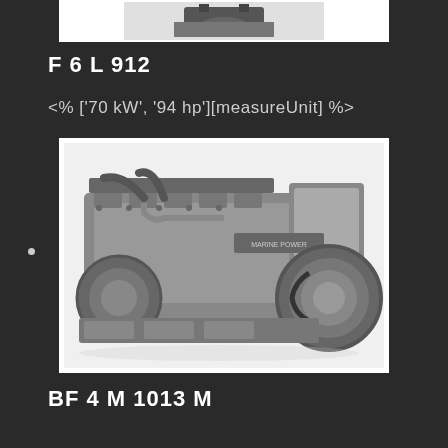[Figure (photo): Partial top view of a Deutz engine component, cut off at top of frame]
F 6 L 912
<% ['70 kW', '94 hp'][measureUnit] %>
[Figure (photo): Black and white photograph of a Deutz BF 4M 1013M marine diesel engine, full side view showing all components]
BF 4 M 1013 M